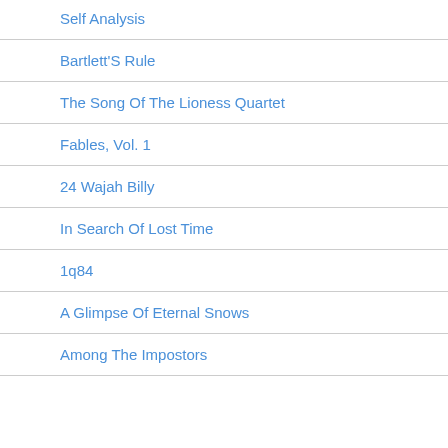Self Analysis
Bartlett'S Rule
The Song Of The Lioness Quartet
Fables, Vol. 1
24 Wajah Billy
In Search Of Lost Time
1q84
A Glimpse Of Eternal Snows
Among The Impostors